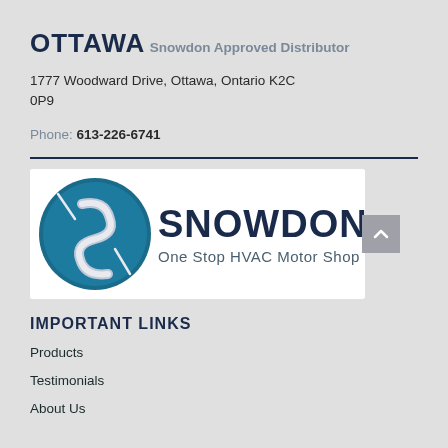OTTAWA
Snowdon Approved Distributor
1777 Woodward Drive, Ottawa, Ontario K2C 0P9
Phone: 613-226-6741
[Figure (logo): Snowdon logo — circular teal blue emblem with a stylized S, beside the text SNOWDON and tagline 'One Stop HVAC Motor Shop']
IMPORTANT LINKS
Products
Testimonials
About Us